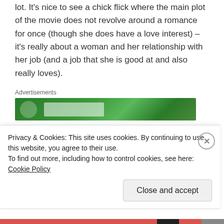lot. It's nice to see a chick flick where the main plot of the movie does not revolve around a romance for once (though she does have a love interest) – it's really about a woman and her relationship with her job (and a job that she is good at and also really loves).
[Figure (other): Advertisement banner with green background]
I mean, it's not going to win any awards – unless Harrison Ford wins one for jowliness and also wooden acting and slow-talking to impart seriousness – but it's
Privacy & Cookies: This site uses cookies. By continuing to use this website, you agree to their use.
To find out more, including how to control cookies, see here: Cookie Policy
Close and accept